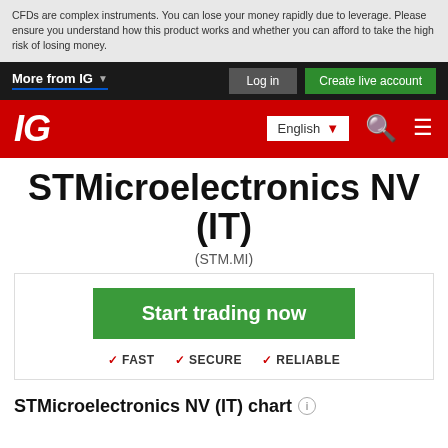CFDs are complex instruments. You can lose your money rapidly due to leverage. Please ensure you understand how this product works and whether you can afford to take the high risk of losing money.
More from IG   Log in   Create live account
[Figure (logo): IG logo in white on red background with English language selector, search icon, and hamburger menu]
STMicroelectronics NV (IT)
(STM.MI)
[Figure (infographic): Start trading now button (green) with FAST, SECURE, RELIABLE badges below]
STMicroelectronics NV (IT) chart